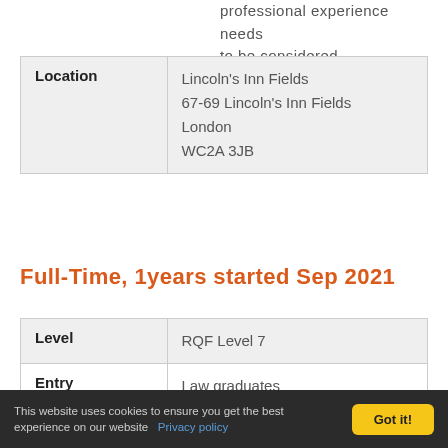professional experience needs to be considered.
| Location |  |
| --- | --- |
| Location | Lincoln's Inn Fields
67-69 Lincoln's Inn Fields
London
WC2A 3JB |
Full-Time, 1years started Sep 2021
| Level | Entry requirements |  |
| --- | --- | --- |
| Level | RQF Level 7 |
| Entry requirements | Law graduates
The usual qualification for entry to the LLM programme is a degree in law, or a degree with a |
This website uses cookies to ensure you get the best experience on our website  Privacy policy